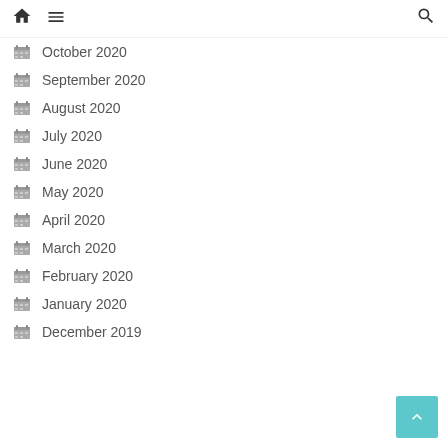Home Menu Search
October 2020
September 2020
August 2020
July 2020
June 2020
May 2020
April 2020
March 2020
February 2020
January 2020
December 2019